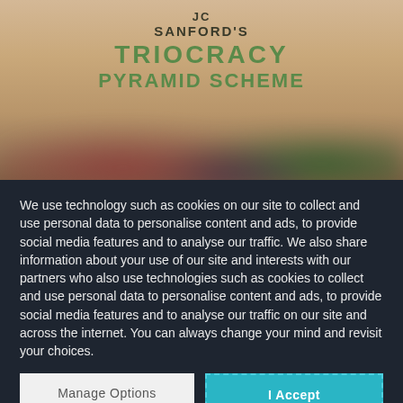[Figure (illustration): Book cover for 'JC Sanford's Triocracy Pyramid Scheme' with beige/tan background and blurred colorful figures at the bottom]
JC SANFORD'S TRIOCRACY PYRAMID SCHEME
We use technology such as cookies on our site to collect and use personal data to personalise content and ads, to provide social media features and to analyse our traffic. We also share information about your use of our site and interests with our partners who also use technologies such as cookies to collect and use personal data to personalise content and ads, to provide social media features and to analyse our traffic on our site and across the internet. You can always change your mind and revisit your choices.